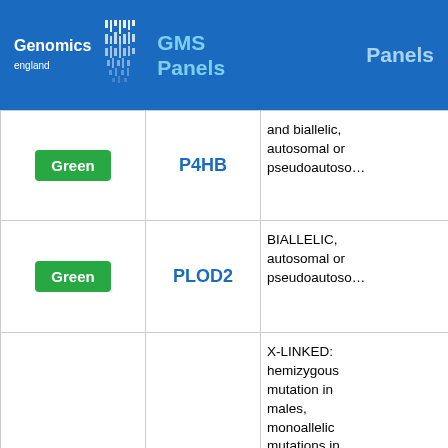Genomics England GMS Panels Panels
| Status | Gene | Description |
| --- | --- | --- |
| Green | P4HB | and biallelic, autosomal or pseudoautosomal |
| Green | PLOD2 | BIALLELIC, autosomal or pseudoautosomal |
| Green | PLS3 | X-LINKED: hemizygous mutation in males, monoallelic mutations in females may cause disease (may be less |